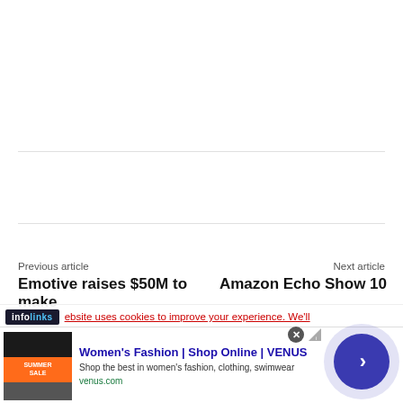Previous article | Next article
Emotive raises $50M to make
Amazon Echo Show 10
infolinks — ebsite uses cookies to improve your experience. We'll
[Figure (screenshot): Advertisement for Women's Fashion | Shop Online | VENUS — thumbnail image showing a summer sale, with text 'Women's Fashion | Shop Online | VENUS', 'Shop the best in women's fashion, clothing, swimwear', 'venus.com', and an arrow navigation button.]